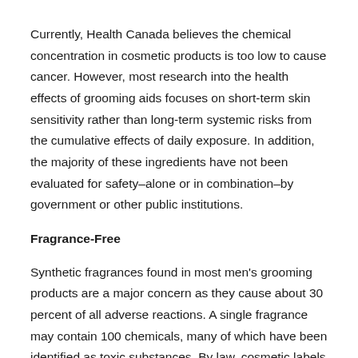Currently, Health Canada believes the chemical concentration in cosmetic products is too low to cause cancer. However, most research into the health effects of grooming aids focuses on short-term skin sensitivity rather than long-term systemic risks from the cumulative effects of daily exposure. In addition, the majority of these ingredients have not been evaluated for safety–alone or in combination–by government or other public institutions.
Fragrance-Free
Synthetic fragrances found in most men's grooming products are a major concern as they cause about 30 percent of all adverse reactions. A single fragrance may contain 100 chemicals, many of which have been identified as toxic substances. By law, cosmetic labels must list all ingredients;